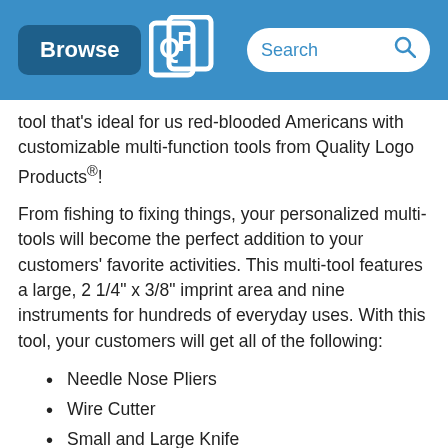Browse | [Logo] | Search
tool that's ideal for us red-blooded Americans with customizable multi-function tools from Quality Logo Products®!
From fishing to fixing things, your personalized multi-tools will become the perfect addition to your customers' favorite activities. This multi-tool features a large, 2 1/4" x 3/8" imprint area and nine instruments for hundreds of everyday uses. With this tool, your customers will get all of the following:
Needle Nose Pliers
Wire Cutter
Small and Large Knife
Metal/Wood File
Standard Ruler/Scale